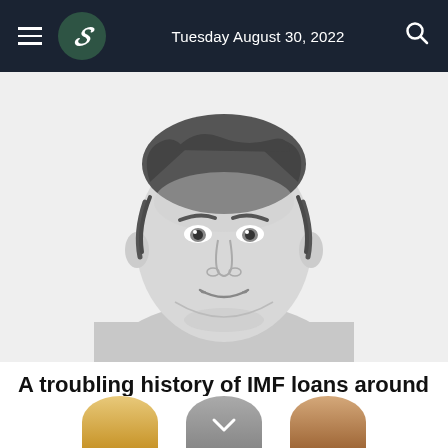Tuesday August 30, 2022
[Figure (illustration): Black and white sketch illustration of a young man with dark curly hair, wearing a light t-shirt, smiling slightly, shown from shoulders up]
A troubling history of IMF loans around the world
1h | Thoughts
[Figure (illustration): Partial view of three avatar/portrait circles at the bottom of the page: left is golden/yellow toned, center is grey with a chevron down arrow, right is brown/tan toned]